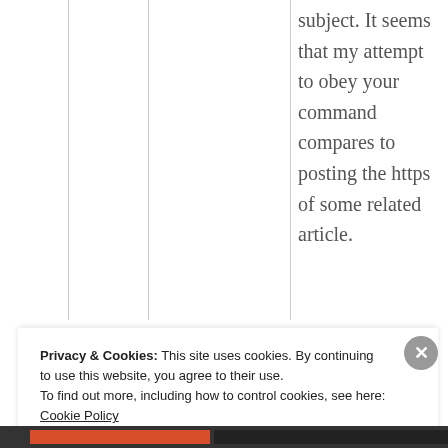subject. It seems that my attempt to obey your command compares to posting the https of some related article.
Privacy & Cookies: This site uses cookies. By continuing to use this website, you agree to their use.
To find out more, including how to control cookies, see here: Cookie Policy
Close and accept